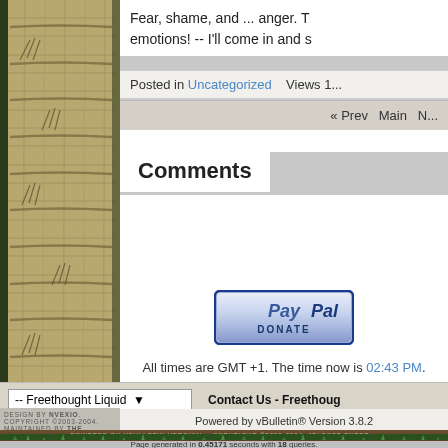Fear, shame, and ... anger. T... emotions! -- I'll come in and s...
Posted in Uncategorized    Views 1...
« Prev    Main    N...
Comments
[Figure (other): PayPal Donate button]
All times are GMT +1. The time now is 02:43 PM.
-- Freethought Liquid    Contact Us - Freethoug...
Powered by vBulletin® Version 3.8.2
Copyright ©2000 - 2022, Jelsoft Enterprises Ltd.
DESIGN BY NVEXIO.  COPYRIGHT ©2003-2004.  MAINTAINED BY THE FREETHOUGHT...
POWERED BY VBULLETIN VERSION... COPYRIGHT ©2000-2004. JELSOFT ENTER...
Page generated in 0.45171 seconds with 18 queries.